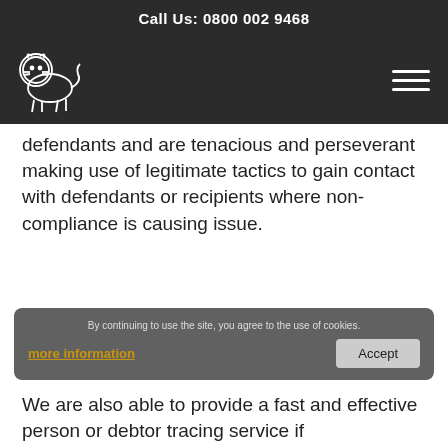Call Us: 0800 002 9468
[Figure (logo): White outline lion logo on dark background]
defendants and are tenacious and perseverant making use of legitimate tactics to gain contact with defendants or recipients where non-compliance is causing issue.
By continuing to use the site, you agree to the use of cookies. more information Accept
We are also able to provide a fast and effective person or debtor tracing service if